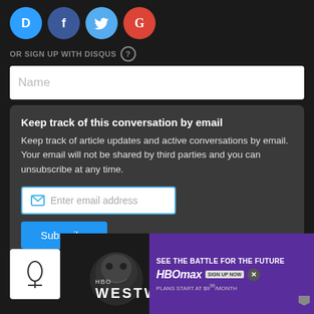[Figure (illustration): Four social login icons: Disqus (blue), Facebook (dark blue), Twitter (light blue), Google (red) as circular icons]
OR SIGN UP WITH DISQUS ?
Name
Keep track of this conversation by email
Keep track of article updates and active conversations by email. Your email will not be shared by third parties and you can unsubscribe at any time.
Enter email address
Subscribe
[Figure (screenshot): Bottom advertisement banner: Westworld HBO Max ad with skull imagery and purple HBO Max banner]